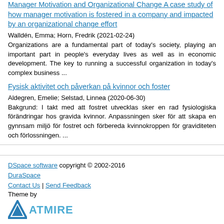Manager Motivation and Organizational Change A case study of how manager motivation is fostered in a company and impacted by an organizational change effort
Walldén, Emma; Horn, Fredrik (2021-02-24)
Organizations are a fundamental part of today's society, playing an important part in people's everyday lives as well as in economic development. The key to running a successful organization in today's complex business ...
Fysisk aktivitet och påverkan på kvinnor och foster
Aldegren, Emelie; Selstad, Linnea (2020-06-30)
Bakgrund: I takt med att fostret utvecklas sker en rad fysiologiska förändringar hos gravida kvinnor. Anpassningen sker för att skapa en gynnsam miljö för fostret och förbereda kvinnokroppen för graviditeten och förlossningen. ...
DSpace software copyright © 2002-2016  DuraSpace | Contact Us | Send Feedback | Theme by ATMIRE